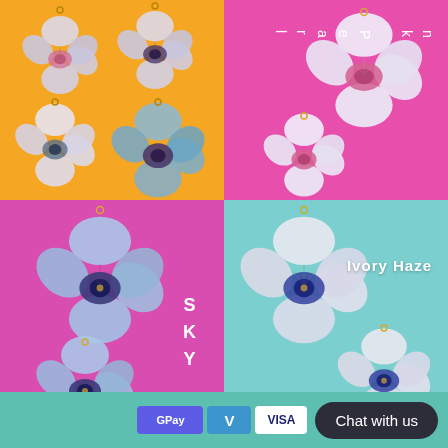[Figure (photo): Four quadrant product photo collage of pansy flower earrings. Top-left: orange background with white and blue pansy earrings. Top-right: hot pink background with pearl white pansy earrings, vertical text 'nk Pearl'. Bottom-left: hot pink background with blue pansy earrings, text 'S K Y'. Bottom-right: teal/light blue background with ivory haze pansy earrings, text 'Ivory Haze'.]
nk Pearl
S
K
Y
Ivory Haze
GPay  Venmo  VISA  Chat with us